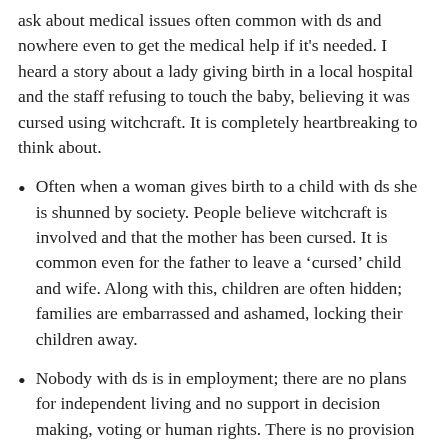ask about medical issues often common with ds and nowhere even to get the medical help if it's needed. I heard a story about a lady giving birth in a local hospital and the staff refusing to touch the baby, believing it was cursed using witchcraft. It is completely heartbreaking to think about.
Often when a woman gives birth to a child with ds she is shunned by society. People believe witchcraft is involved and that the mother has been cursed. It is common even for the father to leave a ‘cursed’ child and wife. Along with this, children are often hidden; families are embarrassed and ashamed, locking their children away.
Nobody with ds is in employment; there are no plans for independent living and no support in decision making, voting or human rights. There is no provision of formal education, and even if a child manages to go to primary